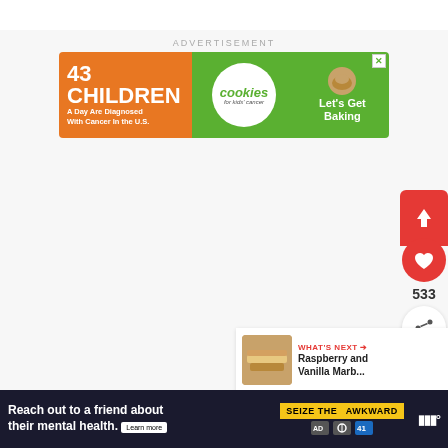ADVERTISEMENT
[Figure (illustration): Banner advertisement: '43 CHILDREN A Day Are Diagnosed With Cancer In the U.S.' with Cookies for Kids Cancer 'Let's Get Baking' branding. Orange left section, green right sections with cookie graphic.]
[Figure (infographic): Floating social media sidebar buttons: red share/up arrow button, red heart button, count '533', and white share button with plus icon.]
533
WHAT'S NEXT → Raspberry and Vanilla Marb...
[Figure (illustration): Bottom banner advertisement: 'Reach out to a friend about their mental health. Learn more' with SEIZE THE AWKWARD badge and station logos.]